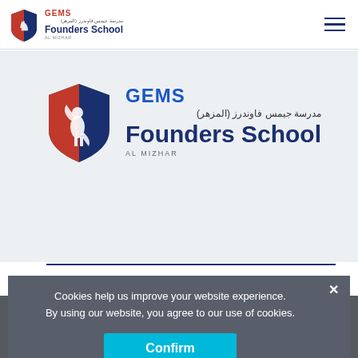[Figure (logo): GEMS Founders School Al Mizhar logo in header — red/blue shield with griffin, GEMS text in red, Arabic text, Founders School in dark blue, AL MIZHAR in grey]
[Figure (logo): GEMS Founders School Al Mizhar large logo in center — red/blue shield with griffin, GEMS in blue, Arabic text, Founders School large in dark blue, AL MIZHAR in grey]
Get Connected
Cookies help us improve your website experience.
By using our website, you agree to our use of cookies.
Confirm